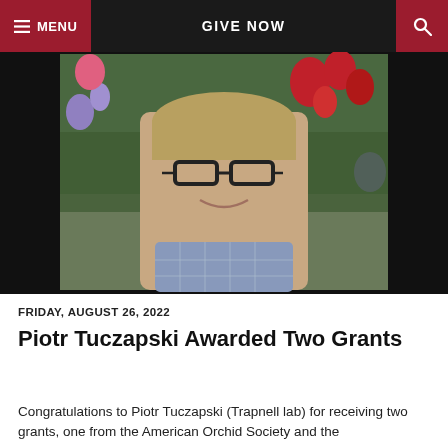MENU   GIVE NOW   [search]
[Figure (photo): Portrait photo of Piotr Tuczapski, a young man with short blonde hair and glasses, wearing a blue plaid shirt, photographed outdoors with colorful flowers in the background.]
FRIDAY, AUGUST 26, 2022
Piotr Tuczapski Awarded Two Grants
Congratulations to Piotr Tuczapski (Trapnell lab) for receiving two grants, one from the American Orchid Society and the